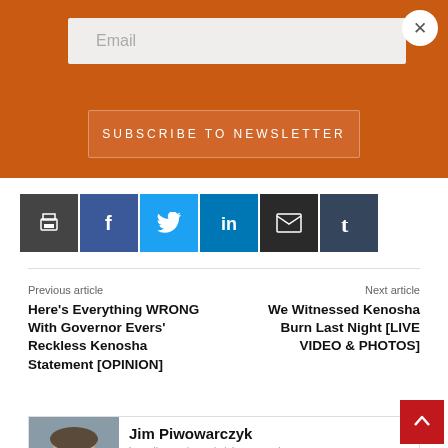[Figure (screenshot): Orange newsletter subscription bar with email input field and Subscribe to Newsletter button, with a close (X) button in top-right corner]
[Figure (infographic): Row of social sharing icon buttons: print (dark grey), Facebook (blue), Twitter (cyan), LinkedIn (teal), Email (black), Tumblr (dark blue-grey)]
Previous article
Here's Everything WRONG With Governor Evers' Reckless Kenosha Statement [OPINION]
Next article
We Witnessed Kenosha Burn Last Night [LIVE VIDEO & PHOTOS]
[Figure (photo): Author headshot of Jim Piwowarczyk, a smiling man]
Jim Piwowarczyk
https://www.wisconsinrightnow.com/
Jim Piwowarczyk is an investigative journalist